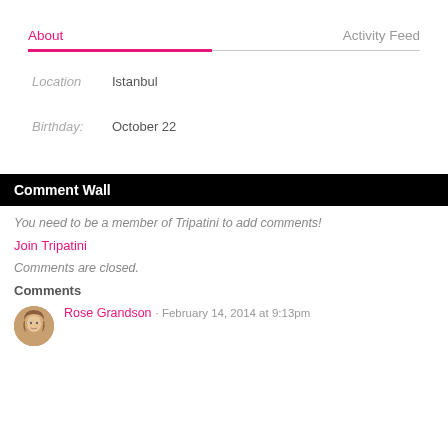About
Activity Feed
Location   Istanbul
Birthday:   October 22
Comment Wall
You need to be a member of Tripatini to add comments!
Join Tripatini
Comments are closed.
Comments
Rose Grandson · February 14, 2014 at 9:13pm